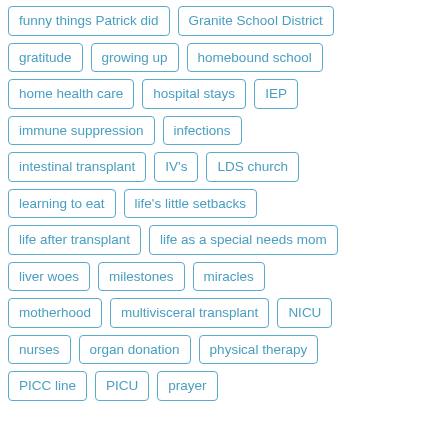funny things Patrick did
Granite School District
gratitude
growing up
homebound school
home health care
hospital stays
IEP
immune suppression
infections
intestinal transplant
IV's
LDS church
learning to eat
life's little setbacks
life after transplant
life as a special needs mom
liver woes
milestones
miracles
motherhood
multivisceral transplant
NICU
nurses
organ donation
physical therapy
PICC line
PICU
prayer